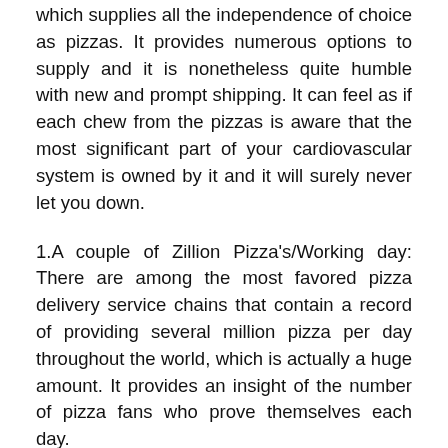which supplies all the independence of choice as pizzas. It provides numerous options to supply and it is nonetheless quite humble with new and prompt shipping. It can feel as if each chew from the pizzas is aware that the most significant part of your cardiovascular system is owned by it and it will surely never let you down.
1.A couple of Zillion Pizza's/Working day: There are among the most favored pizza delivery service chains that contain a record of providing several million pizza per day throughout the world, which is actually a huge amount. It provides an insight of the number of pizza fans who prove themselves each day.
2.Highest On the web Purchases: Another reality that excitement the entire world is the fact that specific pizzas organizations have the greatest number of on the web purchases in the